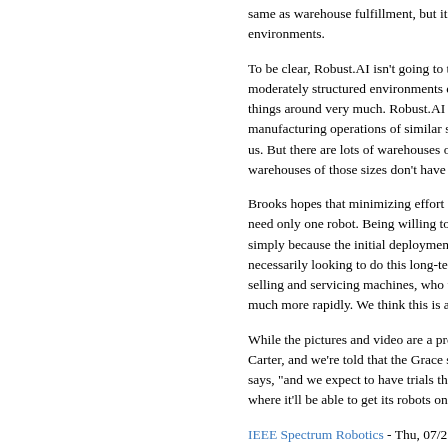same as warehouse fulfillment, but it share environments.
To be clear, Robust.AI isn't going to take on moderately structured environments either, things around very much. Robust.AI is targ manufacturing operations of similar size. "T us. But there are lots of warehouses of 10,0 warehouses of those sizes don't have auto
Brooks hopes that minimizing effort could n need only one robot. Being willing to sell a simply because the initial deployment make necessarily looking to do this long-term, sa selling and servicing machines, who want t much more rapidly. We think this is a fantas
While the pictures and video are a pretty go Carter, and we're told that the Grace softwa says, "and we expect to have trials this yea where it'll be able to get its robots on the m
IEEE Spectrum Robotics - Thu, 07/21/2022